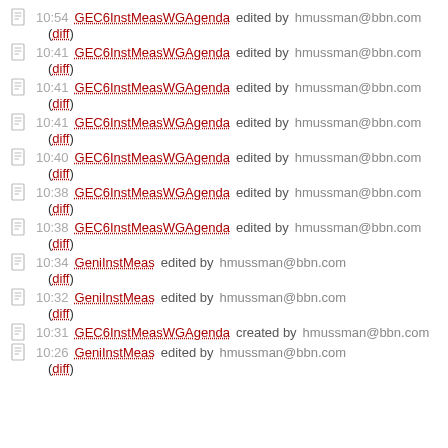10:54 GEC6InstMeasWGAgenda edited by hmussman@bbn.com (diff)
10:41 GEC6InstMeasWGAgenda edited by hmussman@bbn.com (diff)
10:41 GEC6InstMeasWGAgenda edited by hmussman@bbn.com (diff)
10:41 GEC6InstMeasWGAgenda edited by hmussman@bbn.com (diff)
10:40 GEC6InstMeasWGAgenda edited by hmussman@bbn.com (diff)
10:38 GEC6InstMeasWGAgenda edited by hmussman@bbn.com (diff)
10:38 GEC6InstMeasWGAgenda edited by hmussman@bbn.com (diff)
10:34 GeniInstMeas edited by hmussman@bbn.com (diff)
10:32 GeniInstMeas edited by hmussman@bbn.com (diff)
10:31 GEC6InstMeasWGAgenda created by hmussman@bbn.com
10:26 GeniInstMeas edited by hmussman@bbn.com (diff)